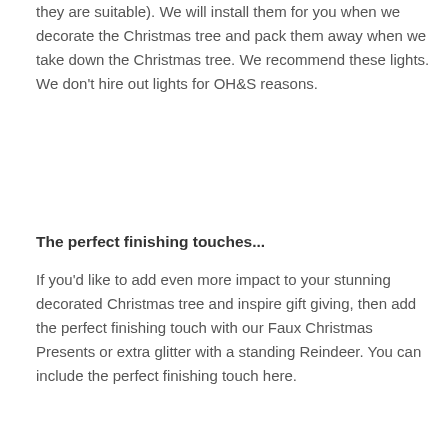they are suitable). We will install them for you when we decorate the Christmas tree and pack them away when we take down the Christmas tree. We recommend these lights. We don't hire out lights for OH&S reasons.
The perfect finishing touches...
If you'd like to add even more impact to your stunning decorated Christmas tree and inspire gift giving, then add the perfect finishing touch with our Faux Christmas Presents or extra glitter with a standing Reindeer. You can include the perfect finishing touch here.
Important information about real trees taller than 2.44m (8ft) :
The largest size real Christmas tree we supply decorated is 2.44m (8ft). If you'd like a decorated real tree taller than this, we can't supply the tree but we can professionally decorate your already installed tree for you. Our decoration hire